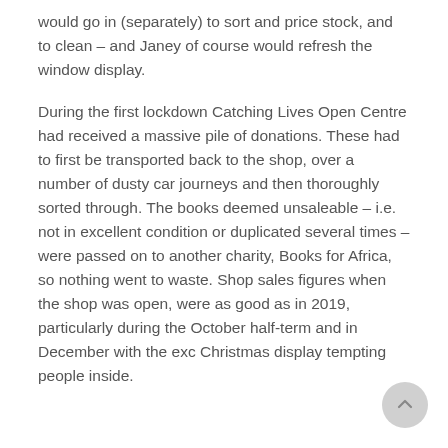would go in (separately) to sort and price stock, and to clean – and Janey of course would refresh the window display.
During the first lockdown Catching Lives Open Centre had received a massive pile of donations. These had to first be transported back to the shop, over a number of dusty car journeys and then thoroughly sorted through. The books deemed unsaleable – i.e. not in excellent condition or duplicated several times – were passed on to another charity, Books for Africa, so nothing went to waste. Shop sales figures when the shop was open, were as good as in 2019, particularly during the October half-term and in December with the exc Christmas display tempting people inside.